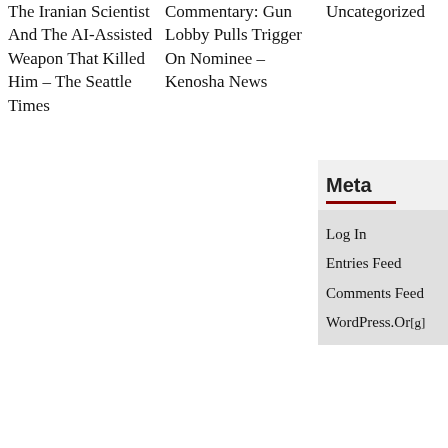The Iranian Scientist And The AI-Assisted Weapon That Killed Him – The Seattle Times
Commentary: Gun Lobby Pulls Trigger On Nominee – Kenosha News
Uncategorized
Meta
Log In
Entries Feed
Comments Feed
WordPress.Org
RELATED ARTICLES